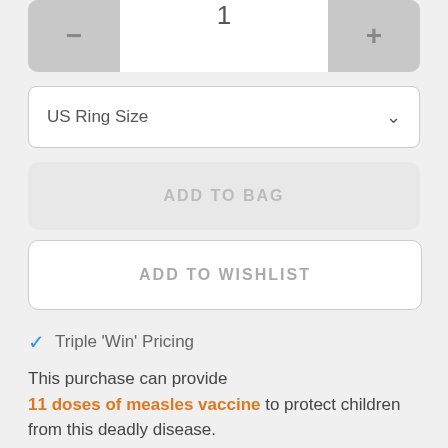[Figure (screenshot): Quantity stepper control with minus button, value of 1, and plus button]
[Figure (screenshot): US Ring Size dropdown selector]
[Figure (screenshot): ADD TO BAG button (disabled/grey state)]
[Figure (screenshot): ADD TO WISHLIST button (white/outlined state)]
Triple 'Win' Pricing
This purchase can provide 11 doses of measles vaccine to protect children from this deadly disease.